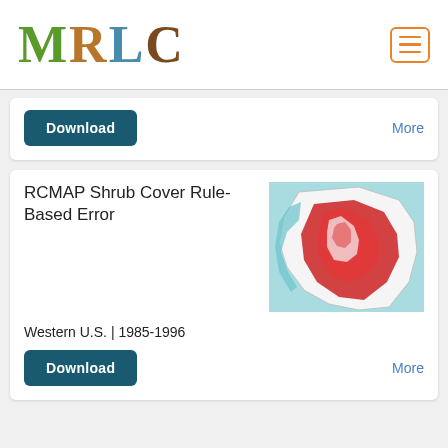[Figure (logo): MRLC logo with nature-themed letters]
Download
More
RCMAP Shrub Cover Rule-Based Error
[Figure (map): Map of Western U.S. showing shrub cover data in red tones]
Western U.S. | 1985-1996
Download
More